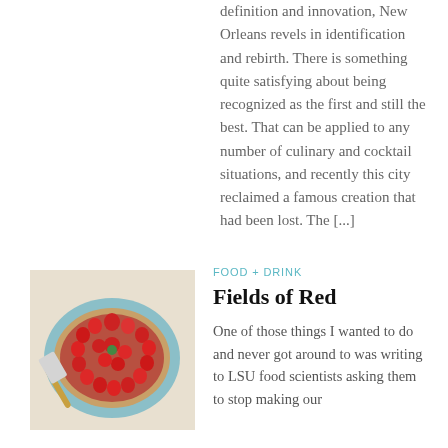definition and innovation, New Orleans revels in identification and rebirth. There is something quite satisfying about being recognized as the first and still the best. That can be applied to any number of culinary and cocktail situations, and recently this city reclaimed a famous creation that had been lost. The [...]
[Figure (photo): A strawberry tart/pie with fresh red strawberries arranged on top and a cake server beside it, placed on a light blue plate.]
FOOD + DRINK
Fields of Red
One of those things I wanted to do and never got around to was writing to LSU food scientists asking them to stop making our